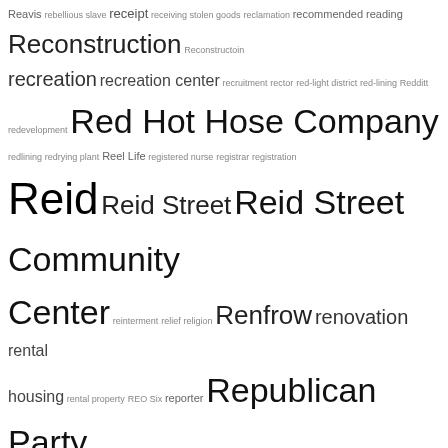Reavis rebellious slave receipt receiving stolen goods reclamation recommended reading Reconstruction Reconstructoin recreation recreation center recruitment rector red-light district red-lining Redditt redevelopment Red Hot Hose Company redlining redrying plant Reel Life registered nurse registrar registration Reid Reid Street Reid Street Community Center reinterment relief religion Renfrow renovation rental housing rental property REO Six reporter Republican Party reputation resistance resisting arrest restaurant restaurateur Rest Haven cemetery restrictive covenant retailing liquor retail store retirement retraction Revell revival revival meeting revolutionary Revolutionary War revue reward rheumatism Rhyne Rice Rich Richardson Richmond Richmond VA Ricker Ricks Riggins right of way Rigsley rivalry Rives road camp road duty road gang roadhouse road improvement road maintenance road map roads roadshow road work roadwork robbery Robbins Roberson Roberts Robeson County Robeson County NC Robeson Street Robins Robinson Rocky Mount NC Rodgers Rogers Rosenwald